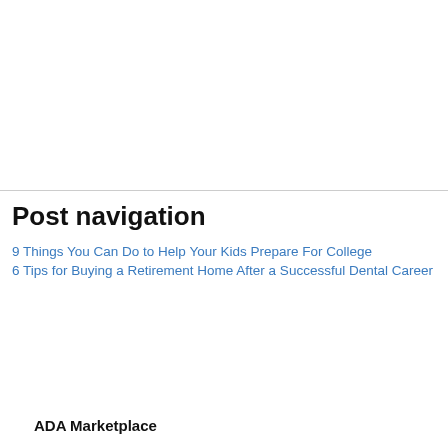Post navigation
9 Things You Can Do to Help Your Kids Prepare For College
6 Tips for Buying a Retirement Home After a Successful Dental Career
ADA Marketplace